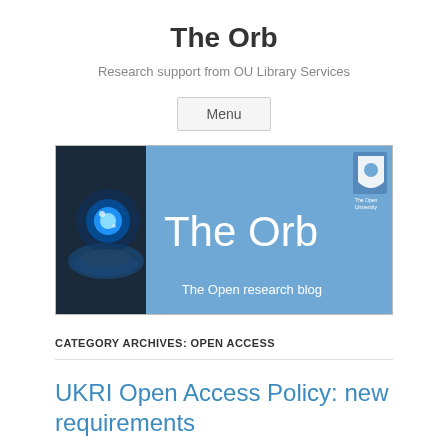The Orb
Research support from OU Library Services
Menu
[Figure (illustration): The Orb blog banner image with a glowing blue orb held in hands on the left, blue background with 'The Orb' in large white text, 'The Open research blog' subtitle, and The Open University logo on the right.]
CATEGORY ARCHIVES: OPEN ACCESS
UKRI Open Access Policy: new requirements